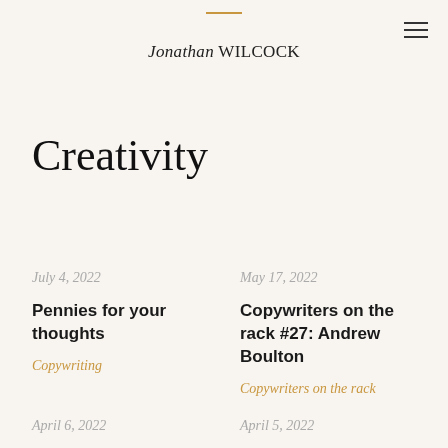Jonathan WILCOCK
Creativity
July 4, 2022
Pennies for your thoughts
Copywriting
May 17, 2022
Copywriters on the rack #27: Andrew Boulton
Copywriters on the rack
April 6, 2022
April 5, 2022